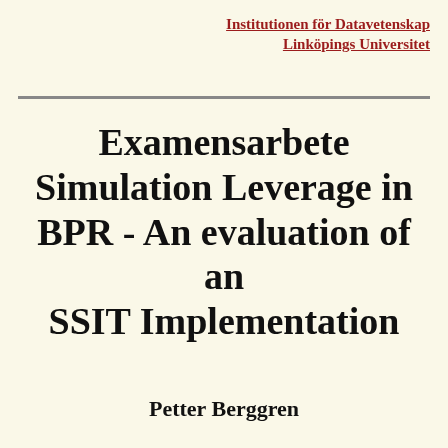Institutionen för Datavetenskap
Linköpings Universitet
Examensarbete Simulation Leverage in BPR - An evaluation of an SSIT Implementation
Petter Berggren